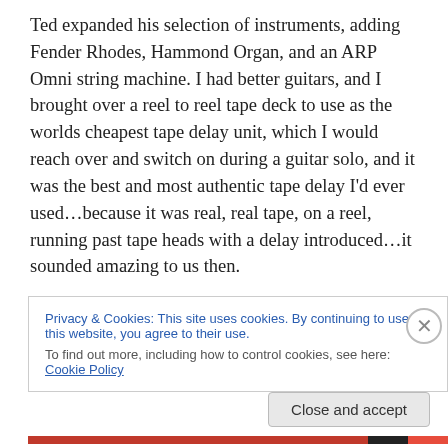Ted expanded his selection of instruments, adding Fender Rhodes, Hammond Organ, and an ARP Omni string machine. I had better guitars, and I brought over a reel to reel tape deck to use as the worlds cheapest tape delay unit, which I would reach over and switch on during a guitar solo, and it was the best and most authentic tape delay I'd ever used…because it was real, real tape, on a reel, running past tape heads with a delay introduced…it sounded amazing to us then.
Privacy & Cookies: This site uses cookies. By continuing to use this website, you agree to their use.
To find out more, including how to control cookies, see here: Cookie Policy
Close and accept